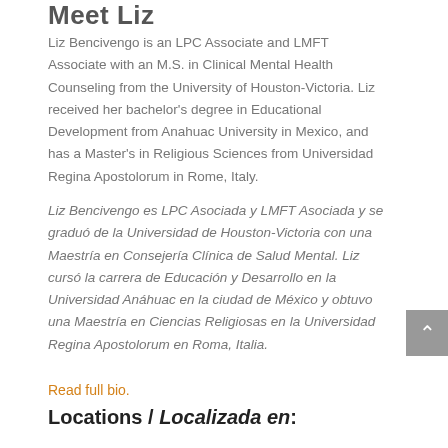Meet Liz
Liz Bencivengo is an LPC Associate and LMFT Associate with an M.S. in Clinical Mental Health Counseling from the University of Houston-Victoria. Liz received her bachelor's degree in Educational Development from Anahuac University in Mexico, and has a Master's in Religious Sciences from Universidad Regina Apostolorum in Rome, Italy.
Liz Bencivengo es LPC Asociada y LMFT Asociada y se graduó de la Universidad de Houston-Victoria con una Maestría en Consejería Clínica de Salud Mental. Liz cursó la carrera de Educación y Desarrollo en la Universidad Anáhuac en la ciudad de México y obtuvo una Maestría en Ciencias Religiosas en la Universidad Regina Apostolorum en Roma, Italia.
Read full bio.
Locations / Localizada en: